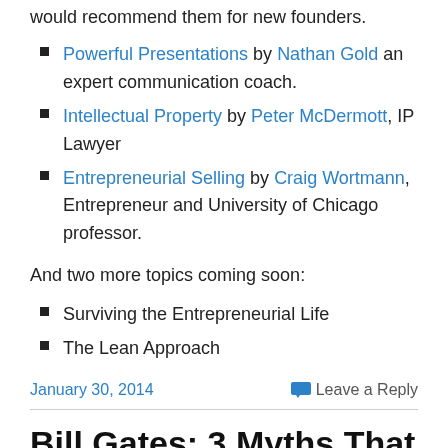would recommend them for new founders.
Powerful Presentations by Nathan Gold an expert communication coach.
Intellectual Property by Peter McDermott, IP Lawyer
Entrepreneurial Selling by Craig Wortmann, Entrepreneur and University of Chicago professor.
And two more topics coming soon:
Surviving the Entrepreneurial Life
The Lean Approach
January 30, 2014    Leave a Reply
Bill Gates: 3 Myths That Block Progress for the Poor